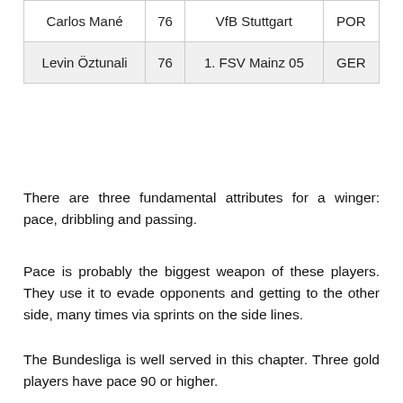| Carlos Mané | 76 | VfB Stuttgart | POR |
| Levin Öztunali | 76 | 1. FSV Mainz 05 | GER |
There are three fundamental attributes for a winger: pace, dribbling and passing.
Pace is probably the biggest weapon of these players. They use it to evade opponents and getting to the other side, many times via sprints on the side lines.
The Bundesliga is well served in this chapter. Three gold players have pace 90 or higher.